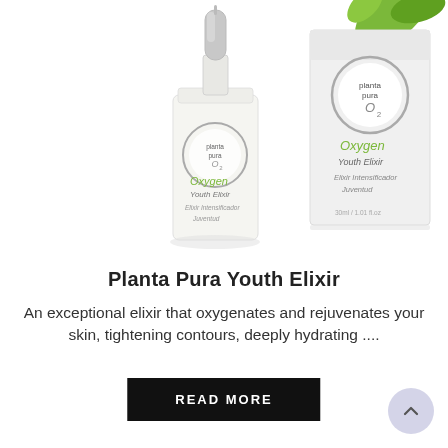[Figure (photo): Product photo of Planta Pura Oxygen Youth Elixir serum bottle with dropper cap and product box, on white background. The bottle is transparent glass with a white/silver dropper, labeled with 'Oxygen Youth Elixir Elixir Intensificador Juventud'. The box shows the Planta Pura O2 branding with green leaf accents.]
Planta Pura Youth Elixir
An exceptional elixir that oxygenates and rejuvenates your skin, tightening contours, deeply hydrating ....
READ MORE